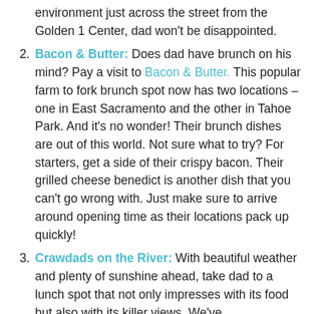environment just across the street from the Golden 1 Center, dad won't be disappointed.
Bacon & Butter: Does dad have brunch on his mind? Pay a visit to Bacon & Butter. This popular farm to fork brunch spot now has two locations – one in East Sacramento and the other in Tahoe Park. And it's no wonder! Their brunch dishes are out of this world. Not sure what to try? For starters, get a side of their crispy bacon. Their grilled cheese benedict is another dish that you can't go wrong with. Just make sure to arrive around opening time as their locations pack up quickly!
Crawdads on the River: With beautiful weather and plenty of sunshine ahead, take dad to a lunch spot that not only impresses with its food but also with its killer views. We've recommended